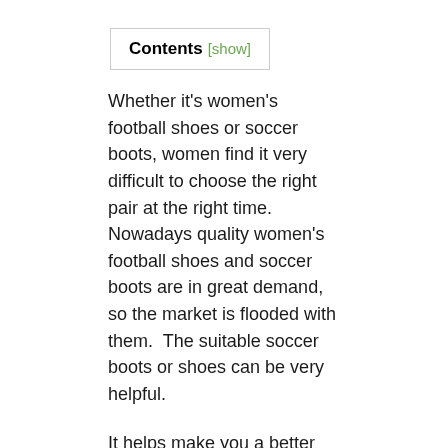Contents [show]
Whether it's women's football shoes or soccer boots, women find it very difficult to choose the right pair at the right time. Nowadays quality women's football shoes and soccer boots are in great demand, so the market is flooded with them.  The suitable soccer boots or shoes can be very helpful.
It helps make you a better player by controlling the ball and gripping the soccer pitch. These lightweight shoes are designed for ease of playing and running over different pitches. These shoes protect your feet while you play football and make you feel